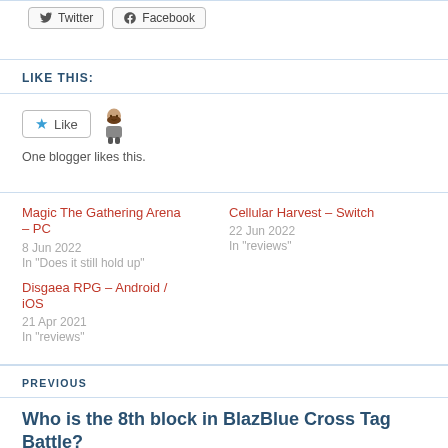[Figure (other): Twitter and Facebook share buttons]
LIKE THIS:
[Figure (other): Like button with star icon and blogger avatar. One blogger likes this.]
One blogger likes this.
Magic The Gathering Arena – PC
8 Jun 2022
In "Does it still hold up"
Cellular Harvest – Switch
22 Jun 2022
In "reviews"
Disgaea RPG – Android / iOS
21 Apr 2021
In "reviews"
PREVIOUS
Who is the 8th block in BlazBlue Cross Tag Battle?